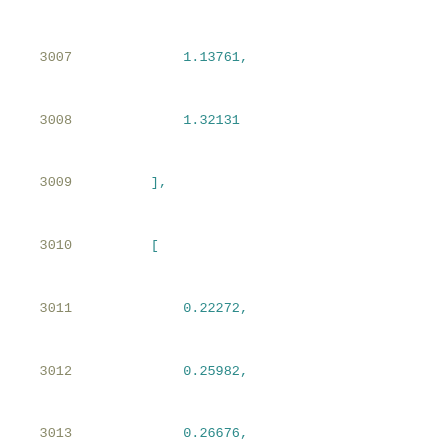3007    1.13761,
3008    1.32131
3009    ],
3010    [
3011        0.22272,
3012        0.25982,
3013        0.26676,
3014        0.2751,
3015        0.28504,
3016        0.29702,
3017        0.31137,
3018        0.32861,
3019        0.34921,
3020        0.37394,
3021        0.40366,
3022        0.43931,
3023        0.48203,
3024        0.5333,
3025        0.59484,
3026        0.66869,
3027        0.75737,